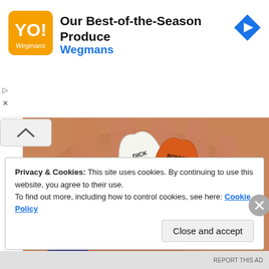[Figure (screenshot): Advertisement banner for Wegmans showing logo and text 'Our Best-of-the-Season Produce' with navigation arrow icon]
Our Best-of-the-Season Produce
Wegmans
[Figure (photo): A hand palm-up holding two guitar picks: a white one labeled 'DICK DALE' and an orange one labeled 'RONNIE MONTROSE'. A ring is visible on a finger.]
Privacy & Cookies: This site uses cookies. By continuing to use this website, you agree to their use.
To find out more, including how to control cookies, see here: Cookie Policy
Close and accept